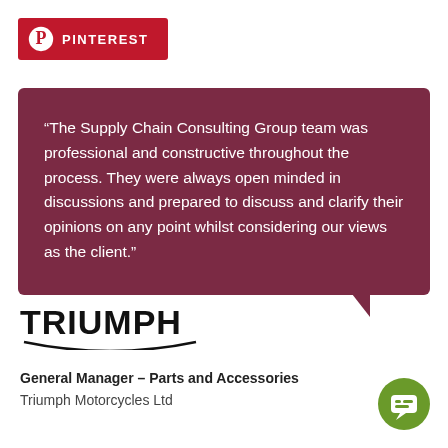[Figure (logo): Pinterest logo banner - red background with Pinterest 'P' icon and text PINTEREST in white]
“The Supply Chain Consulting Group team was professional and constructive throughout the process. They were always open minded in discussions and prepared to discuss and clarify their opinions on any point whilst considering our views as the client.”
[Figure (logo): Triumph motorcycle brand logo in black text with decorative arc underline]
General Manager – Parts and Accessories
Triumph Motorcycles Ltd
[Figure (illustration): Green circular chat/message icon in bottom right corner]